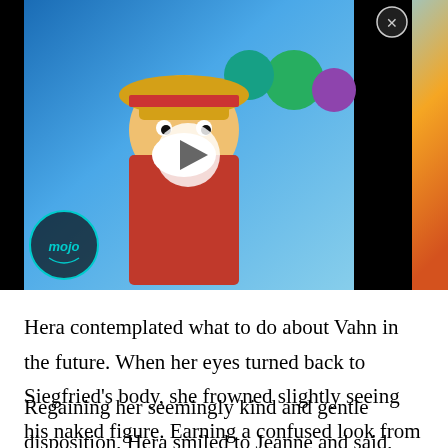[Figure (screenshot): Video thumbnail showing anime characters from One Piece with a play button overlay and mojo logo in the bottom left. Black bars on left and right sides. Close button (X) in top right corner.]
Hera contemplated what to do about Vahn in the future. When her eyes turned back to Siegfried’s body, she frowned slightly seeing his naked figure. Earning a confused look from Jeanne, Hera snorted lightly before noticing her young protege’s gaze.
Regaining her seemingly kind and gentle disposition, Hera smiled to Jeanne and said,